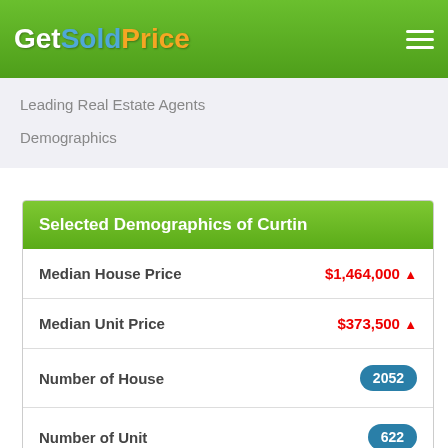Get Sold Price
Leading Real Estate Agents
Demographics
Selected Demographics of Curtin
|  |  |
| --- | --- |
| Median House Price | $1,464,000 ↑ |
| Median Unit Price | $373,500 ↑ |
| Number of House | 2052 |
| Number of Unit | 622 |
| Number of People | 11119 |
| Median Age | 41 |